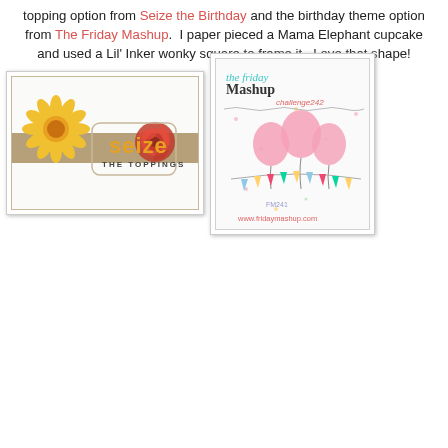topping option from Seize the Birthday and the birthday theme option from The Friday Mashup.  I paper pieced a Mama Elephant cupcake and used a Lil' Inker wonky square to frame it.  Love that shape!
[Figure (logo): Seize the Toppings logo with yellow sunflower, red rose, and decorative frame]
[Figure (photo): The Friday Mashup challenge card with colorful balloons and bunting banner on white background]